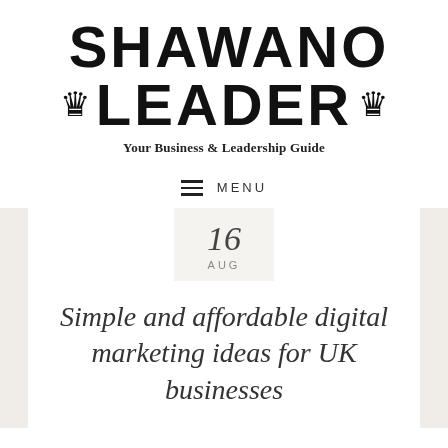[Figure (logo): Shawano Leader logo with distressed block letters and crown icons on each side of the second row]
Your Business & Leadership Guide
MENU
16
AUG
Simple and affordable digital marketing ideas for UK businesses